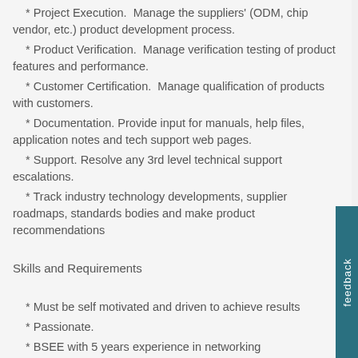* Project Execution.  Manage the suppliers' (ODM, chip vendor, etc.) product development process.
* Product Verification.  Manage verification testing of product features and performance.
* Customer Certification.  Manage qualification of products with customers.
* Documentation. Provide input for manuals, help files, application notes and tech support web pages.
* Support. Resolve any 3rd level technical support escalations.
* Track industry technology developments, supplier roadmaps, standards bodies and make product recommendations
Skills and Requirements
* Must be self motivated and driven to achieve results
* Passionate.
* BSEE with 5 years experience in networking hardware/software product development
* In depth domain knowledge in IP networking for Home